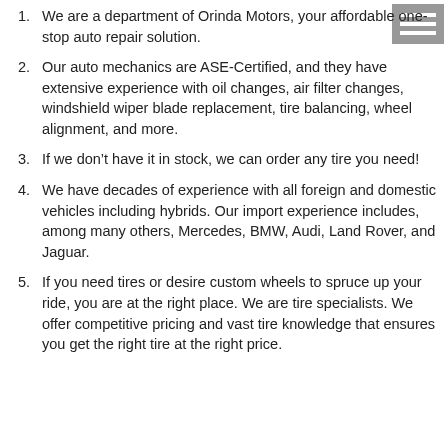We are a department of Orinda Motors, your affordable one-stop auto repair solution.
Our auto mechanics are ASE-Certified, and they have extensive experience with oil changes, air filter changes, windshield wiper blade replacement, tire balancing, wheel alignment, and more.
If we don’t have it in stock, we can order any tire you need!
We have decades of experience with all foreign and domestic vehicles including hybrids. Our import experience includes, among many others, Mercedes, BMW, Audi, Land Rover, and Jaguar.
If you need tires or desire custom wheels to spruce up your ride, you are at the right place. We are tire specialists. We offer competitive pricing and vast tire knowledge that ensures you get the right tire at the right price.